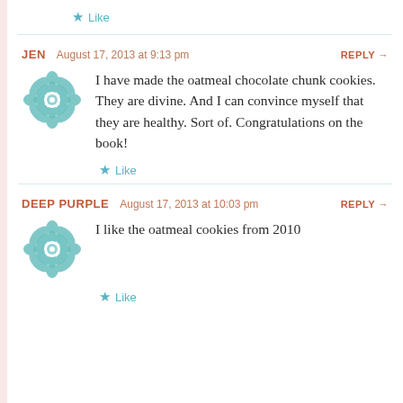★ Like
JEN  August 17, 2013 at 9:13 pm  REPLY →
I have made the oatmeal chocolate chunk cookies. They are divine. And I can convince myself that they are healthy. Sort of. Congratulations on the book!
★ Like
DEEP PURPLE  August 17, 2013 at 10:03 pm  REPLY →
I like the oatmeal cookies from 2010
★ Like